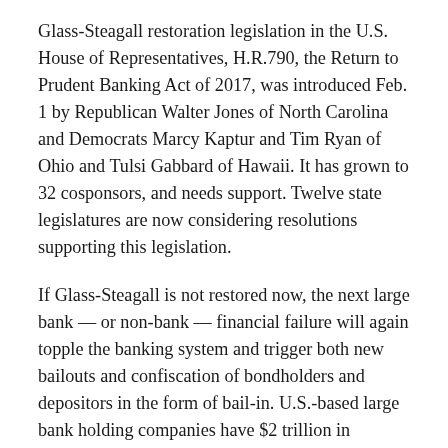Glass-Steagall restoration legislation in the U.S. House of Representatives, H.R.790, the Return to Prudent Banking Act of 2017, was introduced Feb. 1 by Republican Walter Jones of North Carolina and Democrats Marcy Kaptur and Tim Ryan of Ohio and Tulsi Gabbard of Hawaii. It has grown to 32 cosponsors, and needs support. Twelve state legislatures are now considering resolutions supporting this legislation.
If Glass-Steagall is not restored now, the next large bank — or non-bank — financial failure will again topple the banking system and trigger both new bailouts and confiscation of bondholders and depositors in the form of bail-in. U.S.-based large bank holding companies have $2 trillion in exposure to European megabanks, which are full of non-performing loans and have not had a single profitable year since the 2008 crash despite hundreds of billions in bailouts and trillions in bond purchases by the